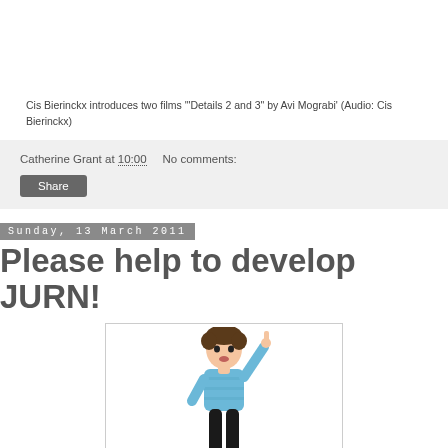Cis Bierinckx introduces two films '"Details 2 and 3" by Avi Mograbi' (Audio: Cis Bierinckx)
Catherine Grant at 10:00   No comments:
Share
Sunday, 13 March 2011
Please help to develop JURN!
[Figure (illustration): Cartoon illustration of a person in a blue striped shirt with one finger raised, standing on a white background inside a bordered box.]